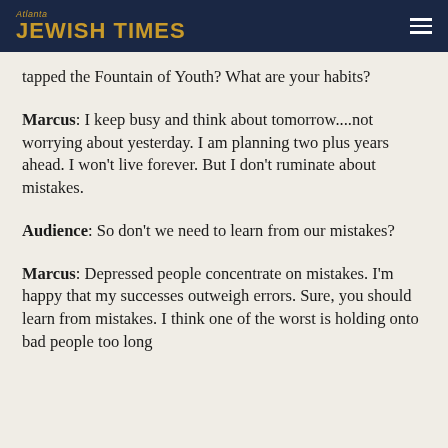Atlanta JEWISH TIMES
tapped the Fountain of Youth? What are your habits?
Marcus: I keep busy and think about tomorrow....not worrying about yesterday. I am planning two plus years ahead. I won't live forever. But I don't ruminate about mistakes.
Audience: So don't we need to learn from our mistakes?
Marcus: Depressed people concentrate on mistakes. I'm happy that my successes outweigh errors. Sure, you should learn from mistakes. I think one of the worst is holding onto bad people too long